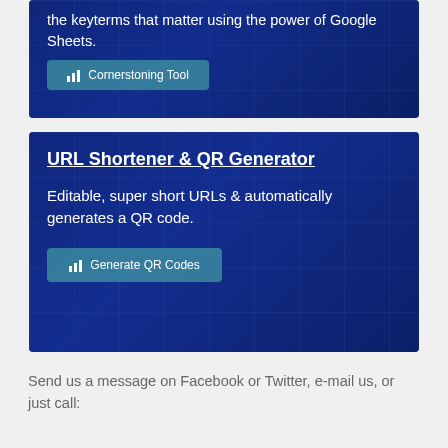[Figure (screenshot): Blue grid background card with text 'the keyterms that matter using the power of Google Sheets.' and a teal button labeled 'Cornerstoning Tool']
[Figure (screenshot): Blue grid background card with title 'URL Shortener & QR Generator', body text 'Editable, super short URLs & automatically generates a QR code.', and a teal button labeled 'Generate QR Codes']
Send us a message on Facebook or Twitter, e-mail us, or just call: